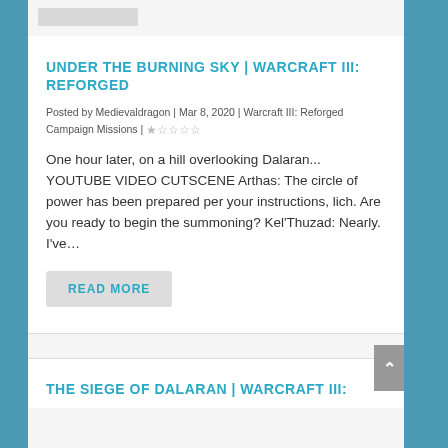[Figure (screenshot): Top navigation button placeholder, gray rectangle]
UNDER THE BURNING SKY | WARCRAFT III: REFORGED
Posted by Medievaldragon | Mar 8, 2020 | Warcraft III: Reforged Campaign Missions | ★☆☆☆☆
One hour later, on a hill overlooking Dalaran... YOUTUBE VIDEO CUTSCENE Arthas: The circle of power has been prepared per your instructions, lich. Are you ready to begin the summoning? Kel'Thuzad: Nearly. I've...
READ MORE
THE SIEGE OF DALARAN | WARCRAFT III: